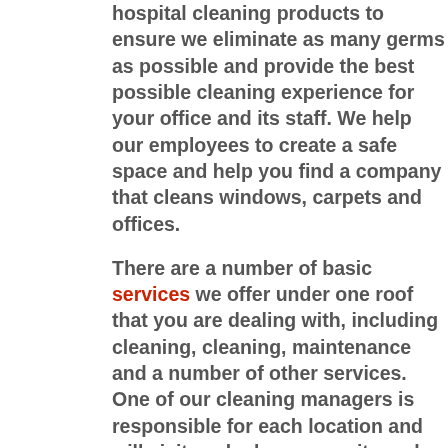hospital cleaning products to ensure we eliminate as many germs as possible and provide the best possible cleaning experience for your office and its staff. We help our employees to create a safe space and help you find a company that cleans windows, carpets and offices.
There are a number of basic services we offer under one roof that you are dealing with, including cleaning, cleaning, maintenance and a number of other services. One of our cleaning managers is responsible for each location and will visit each cleaner on site and make a surprise check to ensure that the process prevents problems before they ever become a problem.
Hpcs Cleaning is a Perth-based company specialising in office cleaning, not general house